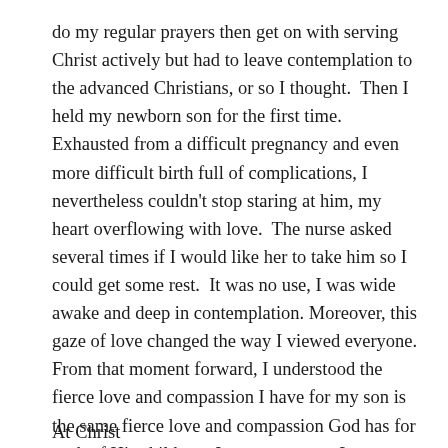do my regular prayers then get on with serving Christ actively but had to leave contemplation to the advanced Christians, or so I thought. Then I held my newborn son for the first time. Exhausted from a difficult pregnancy and even more difficult birth full of complications, I nevertheless couldn't stop staring at him, my heart overflowing with love. The nurse asked several times if I would like her to take him so I could get some rest. It was no use, I was wide awake and deep in contemplation. Moreover, this gaze of love changed the way I viewed everyone. From that moment forward, I understood the fierce love and compassion I have for my son is the same fierce love and compassion God has for each of His children. In consequence, I see people through the Father's eyes instead of my own.
At Christ...